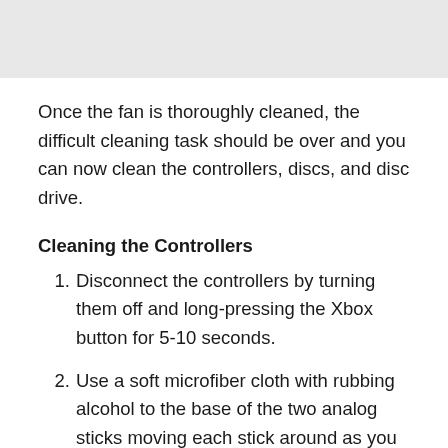[Figure (other): Gray image/photo area at top of page]
Once the fan is thoroughly cleaned, the difficult cleaning task should be over and you can now clean the controllers, discs, and disc drive.
Cleaning the Controllers
Disconnect the controllers by turning them off and long-pressing the Xbox button for 5-10 seconds.
Use a soft microfiber cloth with rubbing alcohol to the base of the two analog sticks moving each stick around as you wipe dirt and dust. Let the alcohol dry out completely before